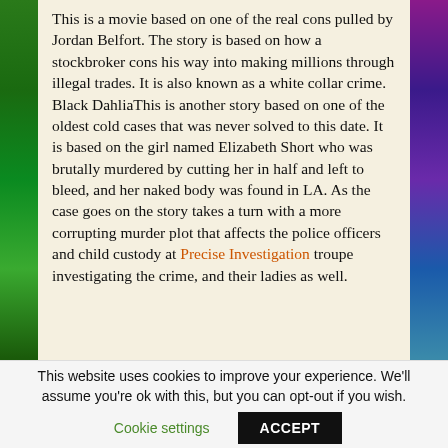This is a movie based on one of the real cons pulled by Jordan Belfort. The story is based on how a stockbroker cons his way into making millions through illegal trades. It is also known as a white collar crime. Black DahliаThis is another story based on one of the oldest cold cases that was never solved to this date. It is based on the girl named Elizabeth Short who was brutally murdered by cutting her in half and left to bleed, and her naked body was found in LA. As the case goes on the story takes a turn with a more corrupting murder plot that affects the police officers and child custody at Precise Investigation troupe investigating the crime, and their ladies as well.
This website uses cookies to improve your experience. We'll assume you're ok with this, but you can opt-out if you wish.
Cookie settings   ACCEPT